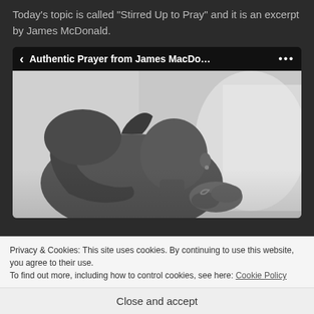Today's topic is called "Stirred Up to Pray" and it is an excerpt by James McDonald.
[Figure (screenshot): A podcast player UI screenshot with header 'Authentic Prayer from James MacDo...' with back arrow and ellipsis menu, showing a black-and-white photo of a muscular bald man with clasped hands bowing his head in prayer.]
Privacy & Cookies: This site uses cookies. By continuing to use this website, you agree to their use.
To find out more, including how to control cookies, see here: Cookie Policy
Close and accept